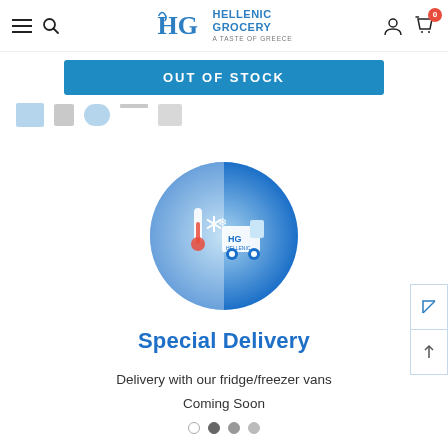Hellenic Grocery – A Taste of Greece
OUT OF STOCK
[Figure (logo): Hellenic Grocery refrigerated delivery truck icon in a blue circle with thermometer and snowflake symbols]
Special Delivery
Delivery with our fridge/freezer vans
Coming Soon